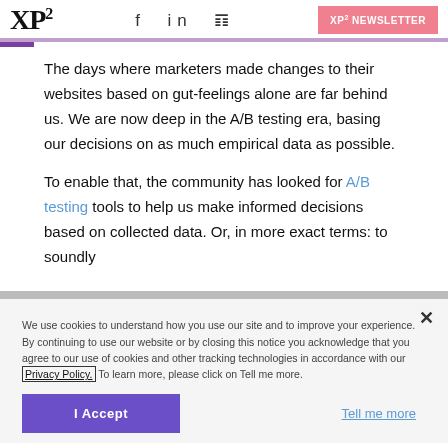XP² | f in 🐦 | XP² NEWSLETTER
The days where marketers made changes to their websites based on gut-feelings alone are far behind us. We are now deep in the A/B testing era, basing our decisions on as much empirical data as possible.
To enable that, the community has looked for A/B testing tools to help us make informed decisions based on collected data. Or, in more exact terms: to soundly
We use cookies to understand how you use our site and to improve your experience. By continuing to use our website or by closing this notice you acknowledge that you agree to our use of cookies and other tracking technologies in accordance with our Privacy Policy. To learn more, please click on Tell me more.
I Accept
Tell me more